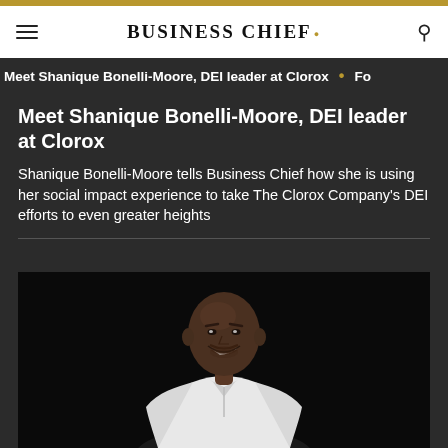BUSINESS CHIEF.
Meet Shanique Bonelli-Moore, DEI leader at Clorox • Fo
Meet Shanique Bonelli-Moore, DEI leader at Clorox
Shanique Bonelli-Moore tells Business Chief how she is using her social impact experience to take The Clorox Company's DEI efforts to even greater heights
[Figure (photo): Portrait of a smiling bald Black man wearing a white shirt, against a dark background]